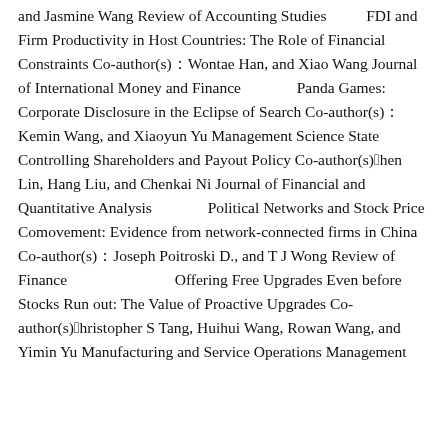and Jasmine Wang Review of Accounting Studies 　　FDI and Firm Productivity in Host Countries: The Role of Financial Constraints Co-author(s)：Wontae Han, and Xiao Wang Journal of International Money and Finance 　　　Panda Games: Corporate Disclosure in the Eclipse of Search Co-author(s)：Kemin Wang, and Xiaoyun Yu Management Science State Controlling Shareholders and Payout Policy Co-author(s)：Chen Lin, Hang Liu, and Chenkai Ni Journal of Financial and Quantitative Analysis 　　　Political Networks and Stock Price Comovement: Evidence from network-connected firms in China Co-author(s)：Joseph Poitroski D., and T J Wong Review of Finance 　　　　 Offering Free Upgrades Even before Stocks Run out: The Value of Proactive Upgrades Co-author(s)：Christopher S Tang, Huihui Wang, Rowan Wang, and Yimin Yu Manufacturing and Service Operations Management